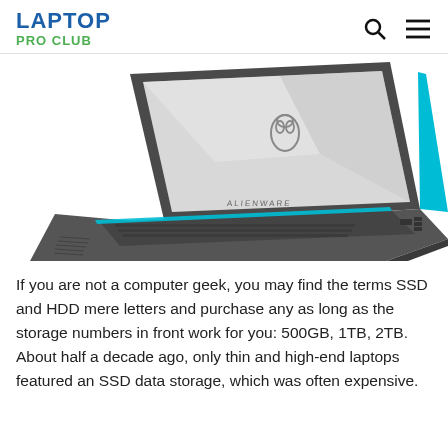LAPTOP PRO CLUB
[Figure (photo): Alienware gaming laptop shown in three-quarter view with teal/cyan accent lighting on the keyboard and base edges, silver lid with alien head logo, angled to show the keyboard and display simultaneously.]
If you are not a computer geek, you may find the terms SSD and HDD mere letters and purchase any as long as the storage numbers in front work for you: 500GB, 1TB, 2TB. About half a decade ago, only thin and high-end laptops featured an SSD data storage, which was often expensive.